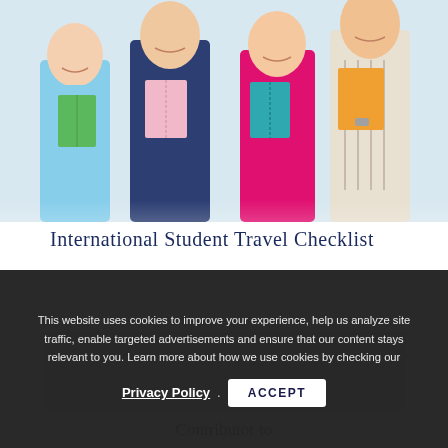[Figure (photo): Four smiling young people (students) standing together holding colorful notebooks and folders in various colors (green, pink, teal, orange). They appear to be college students.]
International Student Travel Checklist
[Figure (other): Gray box placeholder for content, partially visible]
This website uses cookies to improve your experience, help us analyze site traffic, enable targeted advertisements and ensure that our content stays relevant to you. Learn more about how we use cookies by checking our
Privacy Policy
ACCEPT
Contributor to